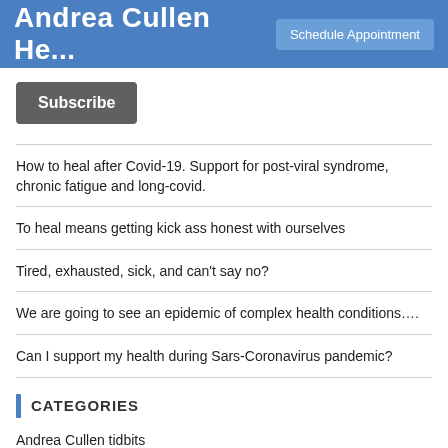Andrea Cullen He... | Schedule Appointment
Subscribe
How to heal after Covid-19. Support for post-viral syndrome, chronic fatigue and long-covid.
To heal means getting kick ass honest with ourselves
Tired, exhausted, sick, and can't say no?
We are going to see an epidemic of complex health conditions….
Can I support my health during Sars-Coronavirus pandemic?
CATEGORIES
Andrea Cullen tidbits
Inspirations, healing & the journey